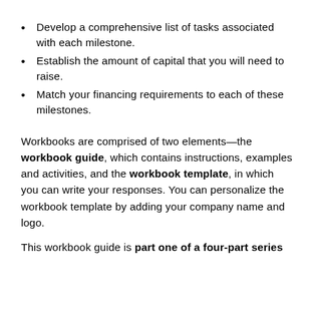Develop a comprehensive list of tasks associated with each milestone.
Establish the amount of capital that you will need to raise.
Match your financing requirements to each of these milestones.
Workbooks are comprised of two elements—the workbook guide, which contains instructions, examples and activities, and the workbook template, in which you can write your responses. You can personalize the workbook template by adding your company name and logo.
This workbook guide is part one of a four-part series